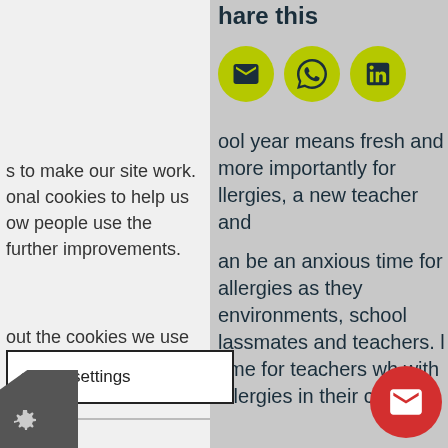hare this
[Figure (infographic): Three yellow-green circular share buttons: email (envelope icon), WhatsApp (speech bubble icon), LinkedIn (in icon)]
ool year means fresh and more importantly for llergies, a new teacher and
an be an anxious time for l allergies as they environments, school lassmates and teachers. l time for teachers wh with allergies in their c
s to make our site work. onal cookies to help us ow people use the further improvements.
out the cookies we use
ended settings
e functionality such to secure areas. ly without